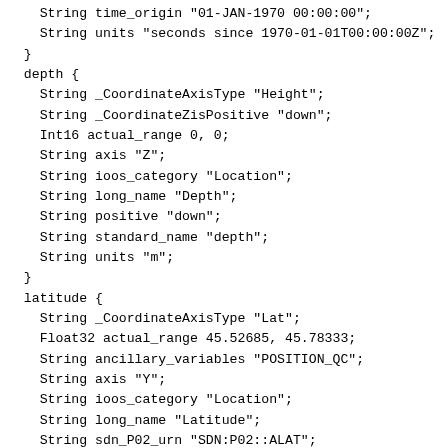String time_origin "01-JAN-1970 00:00:00";
    String units "seconds since 1970-01-01T00:00:00Z";
  }
  depth {
    String _CoordinateAxisType "Height";
    String _CoordinateZisPositive "down";
    Int16 actual_range 0, 0;
    String axis "Z";
    String ioos_category "Location";
    String long_name "Depth";
    String positive "down";
    String standard_name "depth";
    String units "m";
  }
  latitude {
    String _CoordinateAxisType "Lat";
    Float32 actual_range 45.52685, 45.78333;
    String ancillary_variables "POSITION_QC";
    String axis "Y";
    String ioos_category "Location";
    String long_name "Latitude";
    String sdn_P02_urn "SDN:P02::ALAT";
    String sdn_parameter_name "Latitude north";
    String sdn_parameter_urn "SDN:P01::ALATZZ01";
    String sdn_uom_name "Degrees north";
    String sdn_uom_urn "SDN:P06::DEGN";